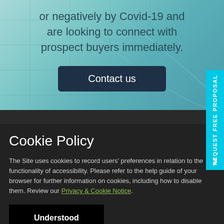or negatively by Covid-19 and are looking to connect with prospect buyers immediately.
Contact us
Cookie Policy
The Site uses cookies to record users' preferences in relation to the functionality of accessibility. Please refer to the help guide of your browser for further information on cookies, including how to disable them. Review our Privacy & Cookie Notice.
Understood